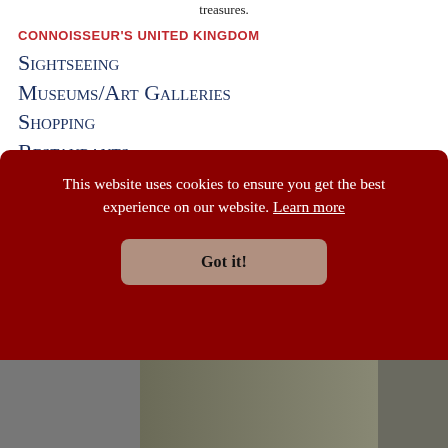treasures.
CONNOISSEUR'S UNITED KINGDOM
Sightseeing
Museums/Art Galleries
Shopping
Restaurants
Societies & Charities
Courses
Reading List
This website uses cookies to ensure you get the best experience on our website. Learn more
Got it!
[Figure (photo): Partial view of historical photograph at bottom of page]